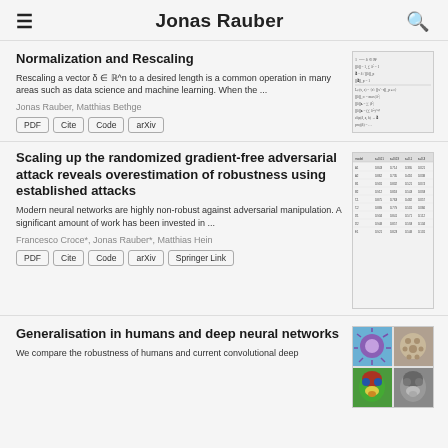Jonas Rauber
Normalization and Rescaling
Rescaling a vector δ ∈ ℝ^n to a desired length is a common operation in many areas such as data science and machine learning. When the ...
Jonas Rauber, Matthias Bethge
PDF | Cite | Code | arXiv
[Figure (math-figure): Thumbnail showing mathematical formulas for normalization and rescaling]
Scaling up the randomized gradient-free adversarial attack reveals overestimation of robustness using established attacks
Modern neural networks are highly non-robust against adversarial manipulation. A significant amount of work has been invested in ...
Francesco Croce*, Jonas Rauber*, Matthias Hein
PDF | Cite | Code | arXiv | Springer Link
[Figure (table-as-image): Thumbnail showing a data table with numerical results for adversarial attack benchmark]
Generalisation in humans and deep neural networks
We compare the robustness of humans and current convolutional deep
[Figure (photo): Thumbnail showing four images: colorful bird, textured ball, parrot in color, and same parrot in grayscale]